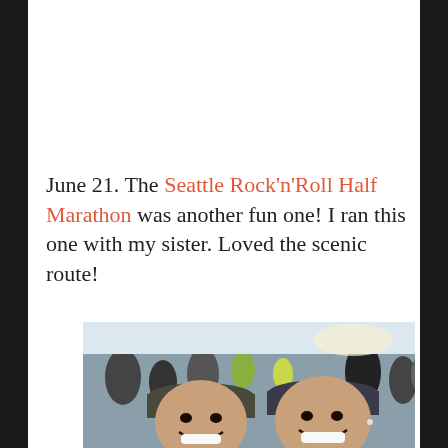June 21. The Seattle Rock'n'Roll Half Marathon was another fun one! I ran this one with my sister. Loved the scenic route!
[Figure (photo): Selfie photo of two smiling women wearing baseball caps at what appears to be a race start line, with a crowd of runners visible in the background.]